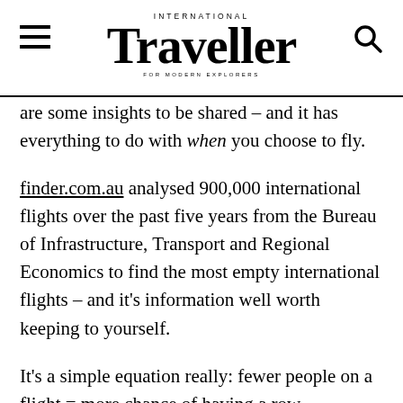INTERNATIONAL Traveller FOR MODERN EXPLORERS
are some insights to be shared – and it has everything to do with when you choose to fly.
finder.com.au analysed 900,000 international flights over the past five years from the Bureau of Infrastructure, Transport and Regional Economics to find the most empty international flights – and it's information well worth keeping to yourself.
It's a simple equation really: fewer people on a flight = more chance of having a row